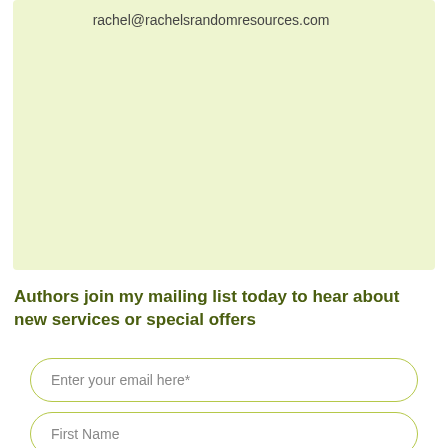rachel@rachelsrandomresources.com
Authors join my mailing list today to hear about new services or special offers
Enter your email here*
First Name